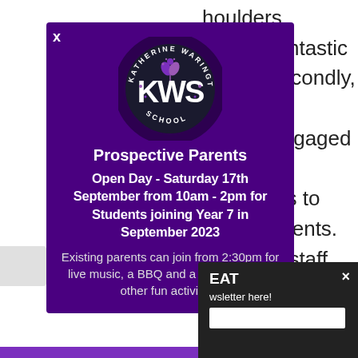houlders, ce and fantastic rning. Secondly, rtive f those engaged ent and nabling us to ll our students. east, our staff, who
[Figure (logo): Katherine Warington School circular logo with KWS lettering and plant motif on dark background]
Prospective Parents
Open Day - Saturday 17th September from 10am - 2pm for Students joining Year 7 in September 2023
Existing parents can join from 2:30pm for live music, a BBQ and a bar as well as other fun activities!
EAT
wsletter here!